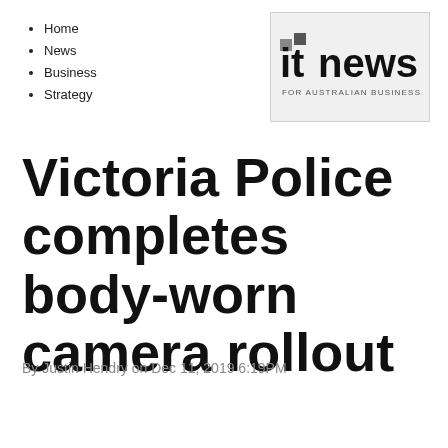Home
News
Business
Strategy
[Figure (logo): ITnews For Australian Business logo — 'it' in small grey squares, 'news' in large bold black text, subtitle 'FOR AUSTRALIAN BUSINESS' in small caps below]
Victoria Police completes body-worn camera rollout
By Justin Hendry on Dec 11, 2019 6:19PM